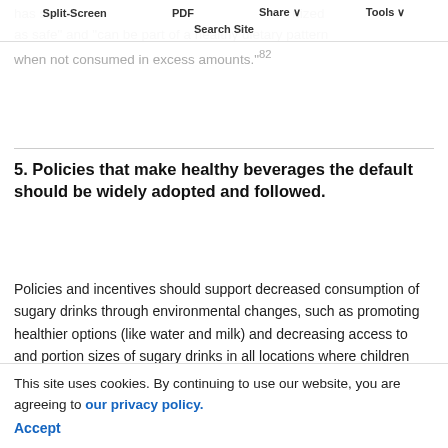Split-Screen  PDF  Share  Tools  Search Site
has shown that added sugars are generally recognized as safe" and "can be part of a healthy dietary pattern when not consumed in excess amounts."
5. Policies that make healthy beverages the default should be widely adopted and followed.
Policies and incentives should support decreased consumption of sugary drinks through environmental changes, such as promoting healthier options (like water and milk) and decreasing access to and portion sizes of sugary drinks in all locations where children and adolescents are present. For example, current
This site uses cookies. By continuing to use our website, you are agreeing to our privacy policy. Accept